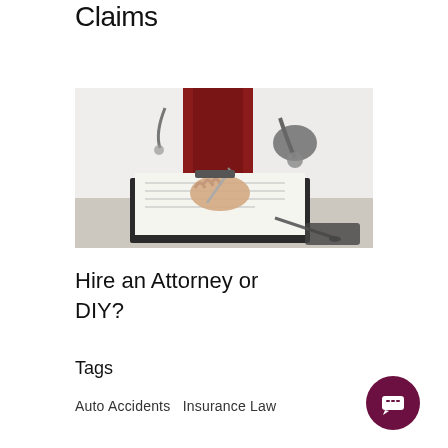Claims
[Figure (photo): A doctor in a white coat and red tie writing on a clipboard with a stethoscope visible, close-up on the hands signing a document]
Hire an Attorney or DIY?
Tags
Auto Accidents   Insurance Law